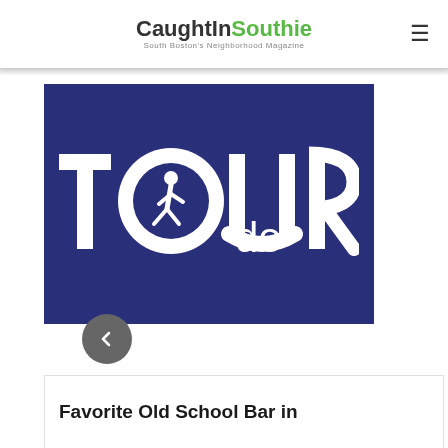CaughtInSouthie — South Boston's Neighborhood Magazine
[Figure (logo): TOUR de logo on dark navy blue background with a running woman silhouette inside the letter O]
Favorite Old School Bar in